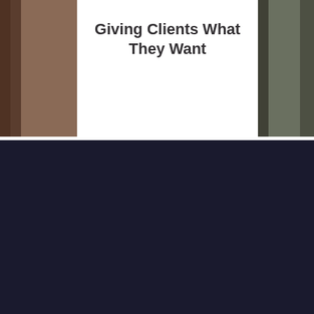Giving Clients What They Want
[Figure (photo): Partial photo on the left side, dark brownish tones, portrait or person]
[Figure (photo): Partial photo on the right side, dark muted tones]
[Figure (logo): iDBA logo in white on dark navy background]
Newsletter.
Be the first to know about upcoming CEU training, live designer